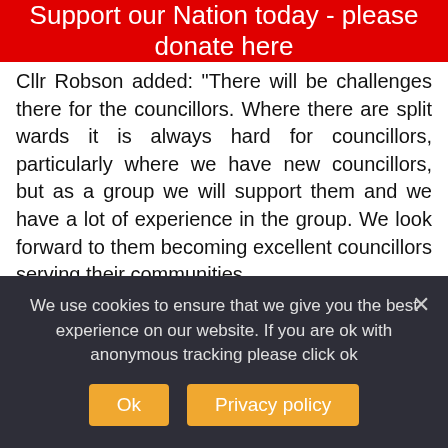Support our Nation today - please donate here
Cllr Robson added: "There will be challenges there for the councillors. Where there are split wards it is always hard for councillors, particularly where we have new councillors, but as a group we will support them and we have a lot of experience in the group. We look forward to them becoming excellent councillors serving their communities.
“For the group as a whole, we have lost seats and we will notice that when we sit in the council chambers for the first time and see Labour with an increased majority on the council benches.
We use cookies to ensure that we give you the best experience on our website. If you are ok with anonymous tracking please click ok
Ok
Privacy policy